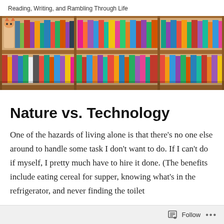Reading, Writing, and Rambling Through Life
[Figure (photo): A wooden bookshelf filled with many colorful books arranged in two rows. A small stuffed animal (fox or deer) sits on the upper left shelf among the books.]
Nature vs. Technology
One of the hazards of living alone is that there’s no one else around to handle some task I don’t want to do. If I can’t do if myself, I pretty much have to hire it done. (The benefits include eating cereal for supper, knowing what’s in the refrigerator, and never finding the toilet
Follow ...